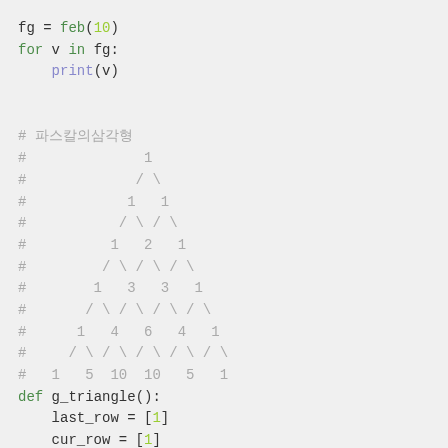fg = feb(10)
for v in fg:
    print(v)

# 파스칼의삼각형
#              1
#             / \
#            1   1
#           / \ / \
#          1   2   1
#         / \ / \ / \
#        1   3   3   1
#       / \ / \ / \ / \
#      1   4   6   4   1
#     / \ / \ / \ / \ / \
#   1   5  10  10   5   1
def g_triangle():
    last_row = [1]
    cur_row = [1]
    n = 0